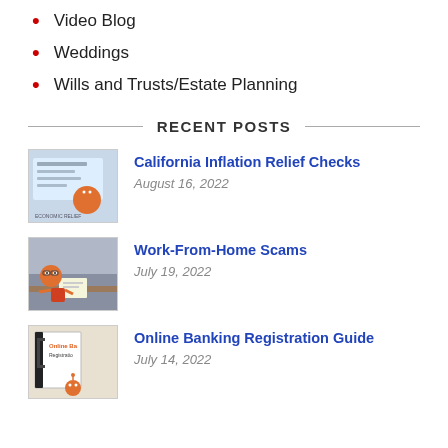Video Blog
Weddings
Wills and Trusts/Estate Planning
RECENT POSTS
[Figure (photo): Thumbnail image for California Inflation Relief Checks post]
California Inflation Relief Checks
August 16, 2022
[Figure (photo): Thumbnail image for Work-From-Home Scams post showing a robot character at a desk]
Work-From-Home Scams
July 19, 2022
[Figure (photo): Thumbnail image for Online Banking Registration Guide post]
Online Banking Registration Guide
July 14, 2022